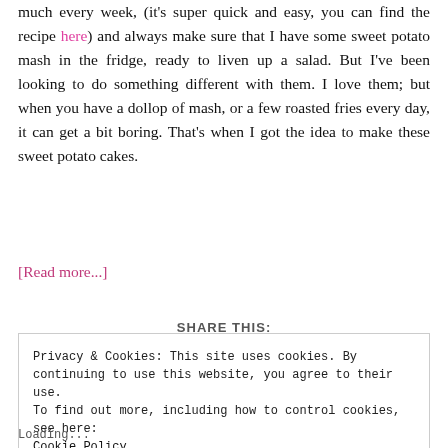much every week, (it's super quick and easy, you can find the recipe here) and always make sure that I have some sweet potato mash in the fridge, ready to liven up a salad. But I've been looking to do something different with them. I love them; but when you have a dollop of mash, or a few roasted fries every day, it can get a bit boring. That's when I got the idea to make these sweet potato cakes.
[Read more...]
SHARE THIS:
Privacy & Cookies: This site uses cookies. By continuing to use this website, you agree to their use. To find out more, including how to control cookies, see here: Cookie Policy
Close and accept
Loading...